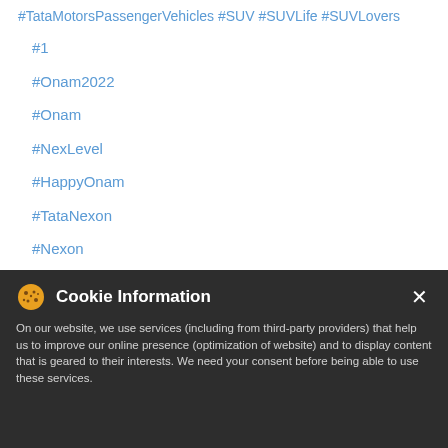#TataMotorsPassengerVehicles #SUV #SUVLife #SUVLovers
#1
#Onam2022
#Onam
#NexLevel
#HappyOnam
#TataNexon
#Nexon
#TataMotorsPassengerVehicles
#SUV
#SUVLife
#SUVLovers
Cookie Information
On our website, we use services (including from third-party providers) that help us to improve our online presence (optimization of website) and to display content that is geared to their interests. We need your consent before being able to use these services.
POSTED ON: 30 Aug 2022, 12:44 PM
I ACCEPT